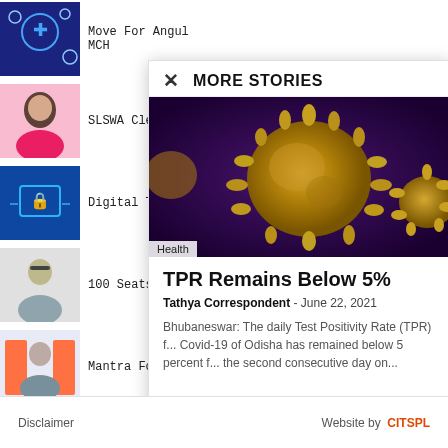Move For Angul MCH
SLSWA Cle...
Digital Tec...
100 Seats P...
Mantra Fo...
× MORE STORIES
[Figure (photo): Close-up image of coronavirus (COVID-19) particle, golden/yellow spiky virus on purple background]
Health
TPR Remains Below 5%
Tathya Correspondent - June 22, 2021
Bhubaneswar: The daily Test Positivity Rate (TPR) f... Covid-19 of Odisha has remained below 5 percent f... the second consecutive day on...
Disclaimer
Website by  CITSPL